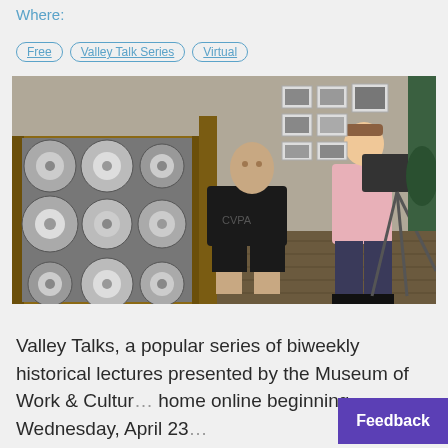Where:
Free
Valley Talk Series
Virtual
[Figure (photo): A man in a black CVPA shirt sits on a chair near a wooden crate filled with large industrial spools/reels, while a younger man in a pink shirt operates a professional video camera on a tripod. Framed black-and-white photographs hang on the wall in the background.]
Valley Talks, a popular series of biweekly historical lectures presented by the Museum of Work & Cultur home online beginning Wednesday, April 23...